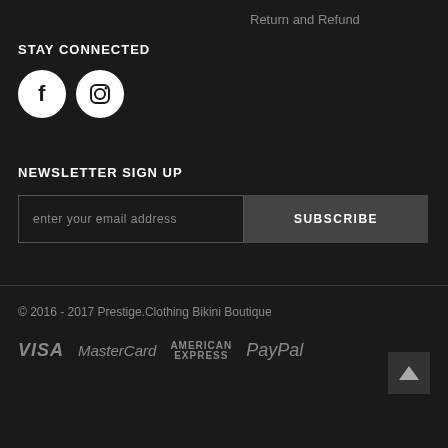Return and Refund
STAY CONNECTED
[Figure (illustration): Facebook and Instagram social media icons as white circles with dark symbols]
NEWSLETTER SIGN UP
enter your email address [input field] SUBSCRIBE [button]
© 2016 - 2017 Prestige.Clothing Bikini Boutique
[Figure (logo): Payment method logos: VISA, MasterCard, AMERICAN EXPRESS, PayPal in gray italic text]